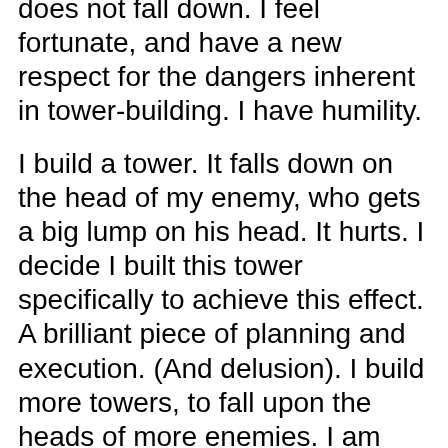does not fall down. I feel fortunate, and have a new respect for the dangers inherent in tower-building. I have humility.
I build a tower. It falls down on the head of my enemy, who gets a big lump on his head. It hurts. I decide I built this tower specifically to achieve this effect. A brilliant piece of planning and execution. (And delusion). I build more towers, to fall upon the heads of more enemies. I am arrogant.
Both examples are commentaries I carry out upon myself, and display for others.